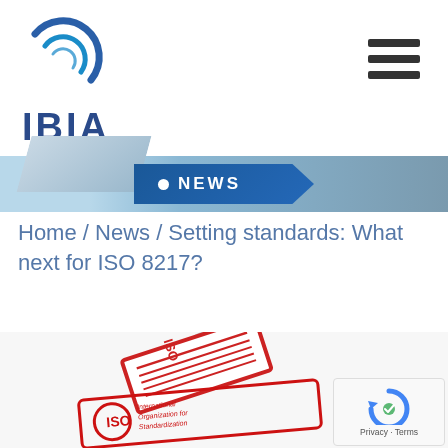IBIA
[Figure (logo): IBIA logo with circular swoosh graphic above the text 'IBIA' in dark blue]
[Figure (other): Hamburger menu icon (three horizontal bars)]
[Figure (other): News banner with blue background and 'NEWS' text with white dot]
Home / News / Setting standards: What next for ISO 8217?
[Figure (photo): ISO rubber stamps on white background, showing 'International Organization for Standardization' text on the stamp impression]
[Figure (other): reCAPTCHA badge with Privacy and Terms links]